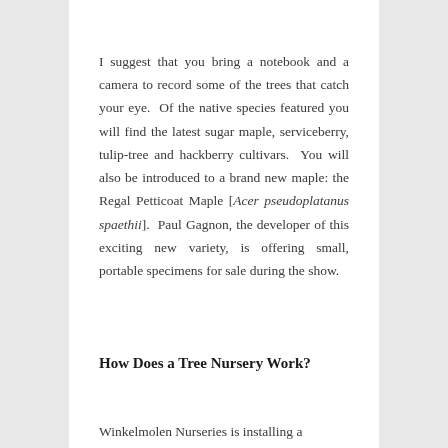I suggest that you bring a notebook and a camera to record some of the trees that catch your eye. Of the native species featured you will find the latest sugar maple, serviceberry, tulip-tree and hackberry cultivars. You will also be introduced to a brand new maple: the Regal Petticoat Maple [Acer pseudoplatanus spaethii]. Paul Gagnon, the developer of this exciting new variety, is offering small, portable specimens for sale during the show.
How Does a Tree Nursery Work?
Winkelmolen Nurseries is installing a